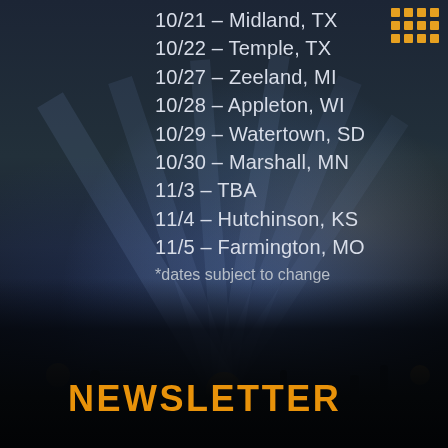10/21 – Midland, TX
10/22 – Temple, TX
10/27 – Zeeland, MI
10/28 – Appleton, WI
10/29 – Watertown, SD
10/30 – Marshall, MN
11/3 – TBA
11/4 – Hutchinson, KS
11/5 – Farmington, MO
*dates subject to change
NEWSLETTER